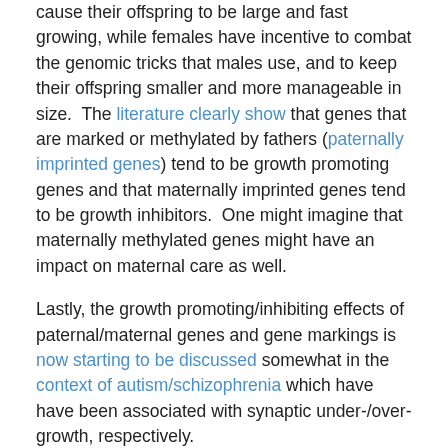cause their offspring to be large and fast growing, while females have incentive to combat the genomic tricks that males use, and to keep their offspring smaller and more manageable in size.  The literature clearly show that genes that are marked or methylated by fathers (paternally imprinted genes) tend to be growth promoting genes and that maternally imprinted genes tend to be growth inhibitors.  One might imagine that maternally methylated genes might have an impact on maternal care as well.
Lastly, the growth promoting/inhibiting effects of paternal/maternal genes and gene markings is now starting to be discussed somewhat in the context of autism/schizophrenia which have have been associated with synaptic under-/over-growth, respectively.
Building a brain is already tough enough – but to have to